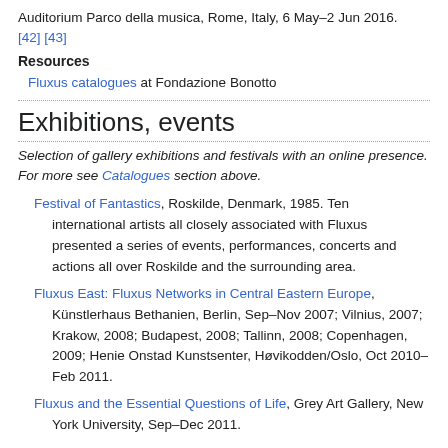Auditorium Parco della musica, Rome, Italy, 6 May–2 Jun 2016. [42] [43]
Resources
Fluxus catalogues at Fondazione Bonotto
Exhibitions, events
Selection of gallery exhibitions and festivals with an online presence. For more see Catalogues section above.
Festival of Fantastics, Roskilde, Denmark, 1985. Ten international artists all closely associated with Fluxus presented a series of events, performances, concerts and actions all over Roskilde and the surrounding area.
Fluxus East: Fluxus Networks in Central Eastern Europe, Künstlerhaus Bethanien, Berlin, Sep–Nov 2007; Vilnius, 2007; Krakow, 2008; Budapest, 2008; Tallinn, 2008; Copenhagen, 2009; Henie Onstad Kunstsenter, Høvikodden/Oslo, Oct 2010–Feb 2011.
Fluxus and the Essential Questions of Life, Grey Art Gallery, New York University, Sep–Dec 2011.